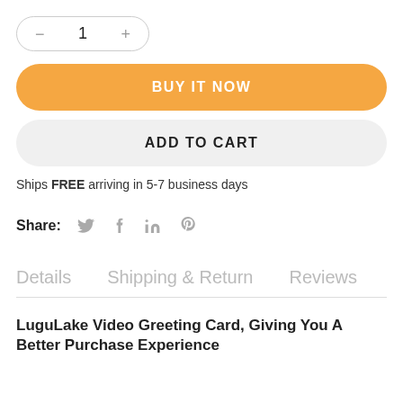[Figure (screenshot): Quantity selector with minus and plus buttons showing value 1]
BUY IT NOW
ADD TO CART
Ships FREE arriving in 5-7 business days
Share:  (twitter) (facebook) (linkedin) (pinterest)
Details    Shipping & Return    Reviews
LuguLake Video Greeting Card, Giving You A Better Purchase Experience